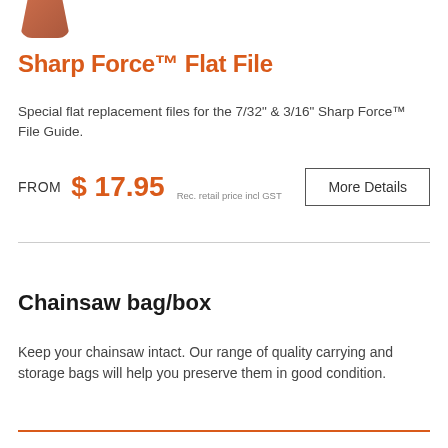[Figure (photo): Partial image of a Sharp Force Flat File product, showing bottom portion of the tool in orange/brown color]
Sharp Force™ Flat File
Special flat replacement files for the 7/32" & 3/16" Sharp Force™ File Guide.
FROM  $ 17.95  Rec. retail price incl GST   More Details
Chainsaw bag/box
Keep your chainsaw intact. Our range of quality carrying and storage bags will help you preserve them in good condition.